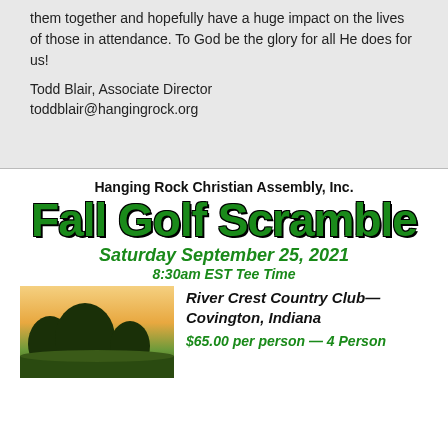them together and hopefully have a huge impact on the lives of those in attendance. To God be the glory for all He does for us!
Todd Blair,  Associate Director
toddblair@hangingrock.org
[Figure (infographic): Fall Golf Scramble flyer for Hanging Rock Christian Assembly, Inc. with event details including date Saturday September 25, 2021, 8:30am EST Tee Time, location River Crest Country Club—Covington, Indiana, price $65.00 per person — 4 Person, with a photo of a golf course at dusk.]